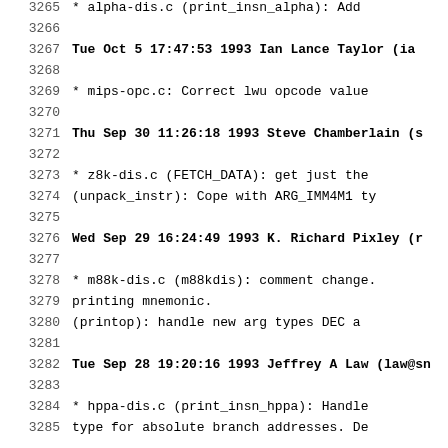3265     * alpha-dis.c (print_insn_alpha): Add
3266
3267  Tue Oct  5 17:47:53 1993  Ian Lance Taylor  (ia
3268
3269          * mips-opc.c: Correct lwu opcode value
3270
3271  Thu Sep 30 11:26:18 1993  Steve Chamberlain  (s
3272
3273          * z8k-dis.c (FETCH_DATA): get just the
3274          (unpack_instr): Cope with ARG_IMM4M1 ty
3275
3276  Wed Sep 29 16:24:49 1993  K. Richard Pixley  (r
3277
3278          * m88k-dis.c (m88kdis): comment change.
3279            printing mnemonic.
3280            (printop): handle new arg types DEC a
3281
3282  Tue Sep 28 19:20:16 1993  Jeffrey A Law (law@sn
3283
3284          * hppa-dis.c (print_insn_hppa): Handle
3285          type for absolute branch addresses. De